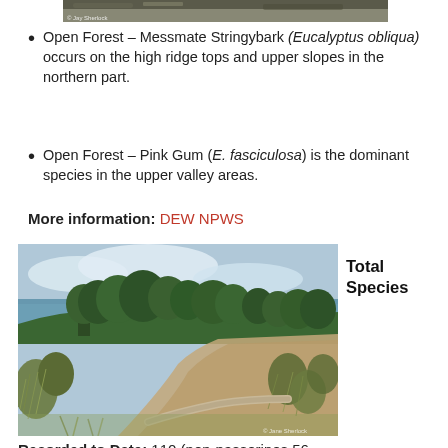[Figure (photo): Partial view of rocky/mossy surface photo at top of page]
Open Forest – Messmate Stringybark (Eucalyptus obliqua) occurs on the high ridge tops and upper slopes in the northern part.
Open Forest – Pink Gum (E. fasciculosa) is the dominant species in the upper valley areas.
More information: DEW NPWS
[Figure (photo): Nature photo showing a grassy/scrubby coastal trail with grass trees, low scrub, and a view of blue ocean in background, with a fallen log on the path. Photo credit bottom right corner.]
Total Species
Recorded to Date: 110 (non-passerines 56